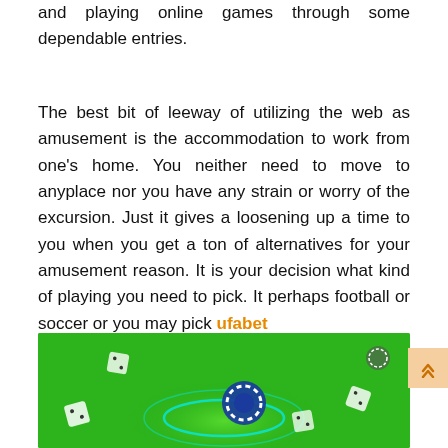and playing online games through some dependable entries.
The best bit of leeway of utilizing the web as amusement is the accommodation to work from one's home. You neither need to move to anyplace nor you have any strain or worry of the excursion. Just it gives a loosening up a time to you when you get a ton of alternatives for your amusement reason. It is your decision what kind of playing you need to pick. It perhaps football or soccer or you may pick ufabet 1168.
[Figure (photo): Green background image with casino chips and dice elements floating, suggesting online gambling/gaming theme]